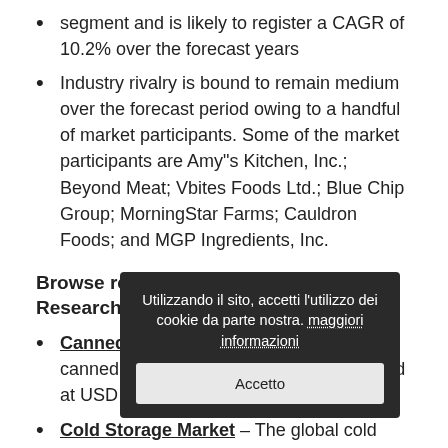segment and is likely to register a CAGR of 10.2% over the forecast years
Industry rivalry is bound to remain medium over the forecast period owing to a handful of market participants. Some of the market participants are Amy"s Kitchen, Inc.; Beyond Meat; Vbites Foods Ltd.; Blue Chip Group; MorningStar Farms; Cauldron Foods; and MGP Ingredients, Inc.
Browse related reports by Grand View Research:
Canned Seafood Market – The global canned seafood market size was estimated at USD 21.50 Billion in 2016.
Cold Storage Market – The global cold storage market size was valued at ... billion in 2016.
Craft Soda Market – The ... soda market size was valued at USD 537.9 million in 2016.
Frozen Drinks Market – The global ...
Utilizzando il sito, accetti l'utilizzo dei cookie da parte nostra. maggiori informazioni [Accetto]